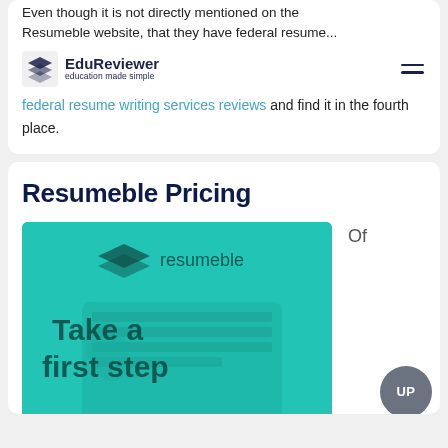Even though it is not directly mentioned on the Resumeble website, that they have federal resume...
EduReviewer — education made simple
federal resume writing services reviews and find it in the fourth place.
Resumeble Pricing
[Figure (photo): Resumeble branded teal/green promotional image with logo at top (stacked layers icon and 'resumeble' wordmark), background shows hands typing on a laptop keyboard, bold text reads 'Take a first step']
Of